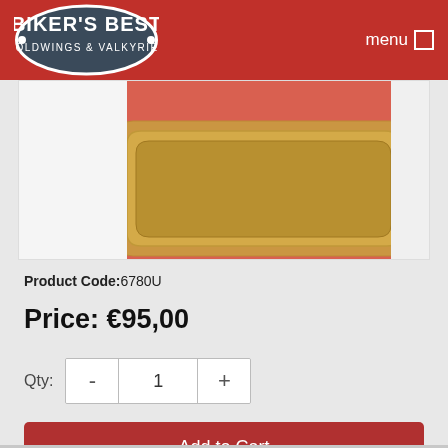BIKER'S BEST GOLDWINGS & VALKYRIES | menu
[Figure (photo): Product photo showing a gold-colored decorative trim piece on a red/coral background]
Product Code:6780U
Price: €95,00
Qty: - 1 +
Add to Cart
Ask Question